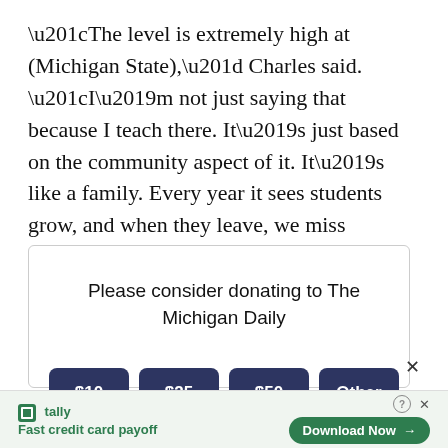“The level is extremely high at (Michigan State),” Charles said. “I’m not just saying that because I teach there. It’s just based on the community aspect of it. It’s like a family. Every year it sees students grow, and when they leave, we miss them.”
Please consider donating to The Michigan Daily
$10 | $25 | $50 | Other
tally Fast credit card payoff | Download Now